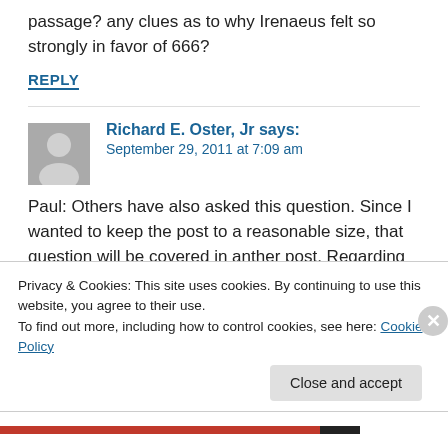passage? any clues as to why Irenaeus felt so strongly in favor of 666?
REPLY
Richard E. Oster, Jr says: September 29, 2011 at 7:09 am
Paul: Others have also asked this question. Since I wanted to keep the post to a reasonable size, that question will be covered in anther post. Regarding Irenaeus, his own numerology convinced him that
Privacy & Cookies: This site uses cookies. By continuing to use this website, you agree to their use.
To find out more, including how to control cookies, see here: Cookie Policy
Close and accept